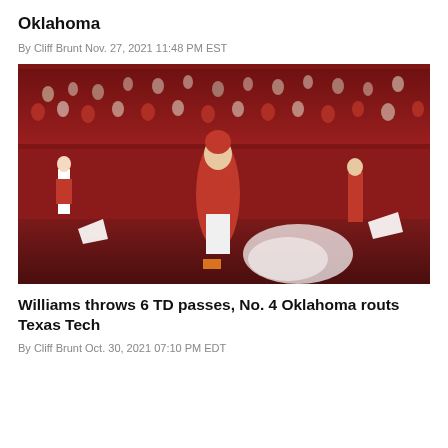Oklahoma
By Cliff Brunt Nov. 27, 2021 11:48 PM EST
[Figure (photo): Oklahoma Sooners football player in red uniform scoring or celebrating near the end zone, with cheerleaders and crowd in the background at a packed stadium.]
Williams throws 6 TD passes, No. 4 Oklahoma routs Texas Tech
By Cliff Brunt Oct. 30, 2021 07:10 PM EDT